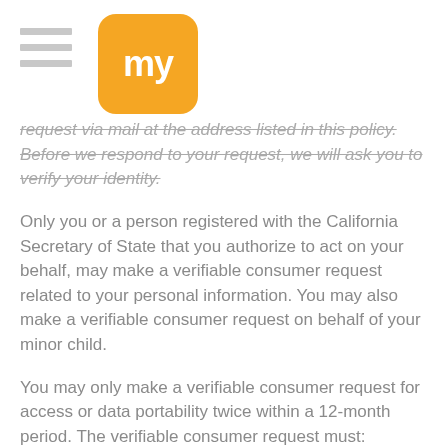my [logo]
request via mail at the address listed in this policy. Before we respond to your request, we will ask you to verify your identity.
Only you or a person registered with the California Secretary of State that you authorize to act on your behalf, may make a verifiable consumer request related to your personal information. You may also make a verifiable consumer request on behalf of your minor child.
You may only make a verifiable consumer request for access or data portability twice within a 12-month period. The verifiable consumer request must:
Provide sufficient information that allows us to reasonably verify you are the person about whom we collected personal information or an authorized